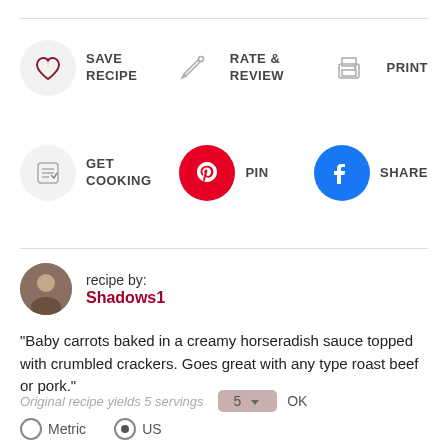[Figure (screenshot): Recipe action buttons row 1: SAVE RECIPE (heart icon), RATE & REVIEW (pencil icon), PRINT (printer icon)]
[Figure (screenshot): Recipe action buttons row 2: GET COOKING (checklist icon), PIN (Pinterest logo), SHARE (Facebook logo)]
recipe by: Shadows1
"Baby carrots baked in a creamy horseradish sauce topped with crumbled crackers. Goes great with any type roast beef or pork."
Original recipe yields 5 servings   5   OK
Metric   US